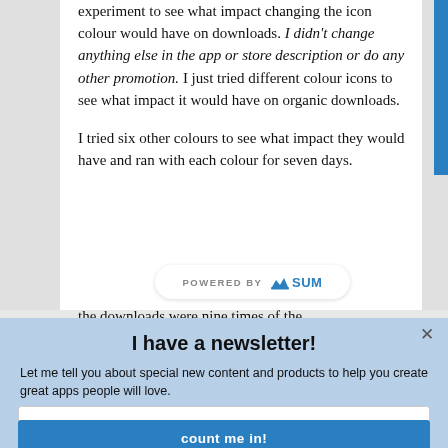experiment to see what impact changing the icon colour would have on downloads. I didn't change anything else in the app or store description or do any other promotion. I just tried different colour icons to see what impact it would have on organic downloads.
I tried six other colours to see what impact they would have and ran with each colour for seven days.
I have a newsletter!
Let me tell you about special new content and products to help you create great apps people will love.